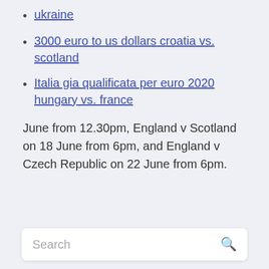ukraine
3000 euro to us dollars croatia vs. scotland
Italia gia qualificata per euro 2020 hungary vs. france
June from 12.30pm, England v Scotland on 18 June from 6pm, and England v Czech Republic on 22 June from 6pm.